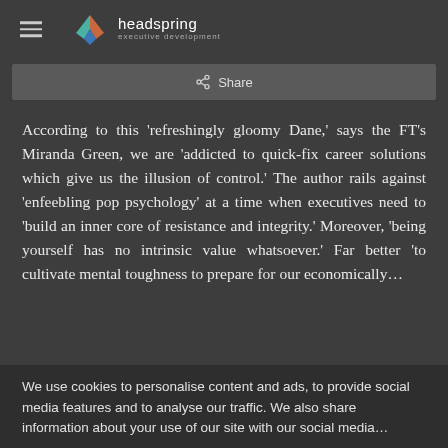headspring executive development
Share
According to this ‘refreshingly gloomy Dane,’ says the FT’s Miranda Green, we are ‘addicted to quick-fix career solutions which give us the illusion of control.’ The author rails against ‘enfeebling pop psychology’ at a time when executives need to ‘build an inner core of resistance and integrity.’ Moreover, ‘being yourself has no intrinsic value whatsoever.’ Far better ‘to cultivate mental toughness to prepare for our economically…
We use cookies to personalise content and ads, to provide social media features and to analyse our traffic. We also share information about your use of our site with our social media…